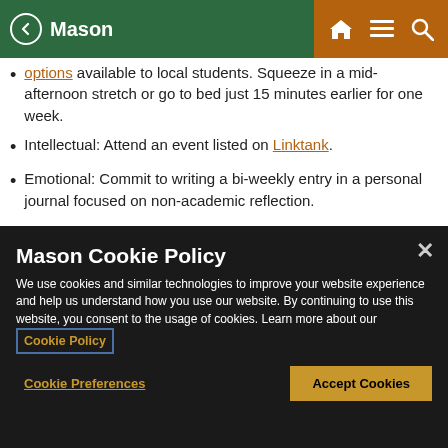Mason
options available to local students. Squeeze in a mid-afternoon stretch or go to bed just 15 minutes earlier for one week.
Intellectual: Attend an event listed on Linktank.
Emotional: Commit to writing a bi-weekly entry in a personal journal focused on non-academic reflection.
Mason Cookie Policy
We use cookies and similar technologies to improve your website experience and help us understand how you use our website. By continuing to use this website, you consent to the usage of cookies. Learn more about our Cookie Policy
Cookie Preferences
Accept Cookies